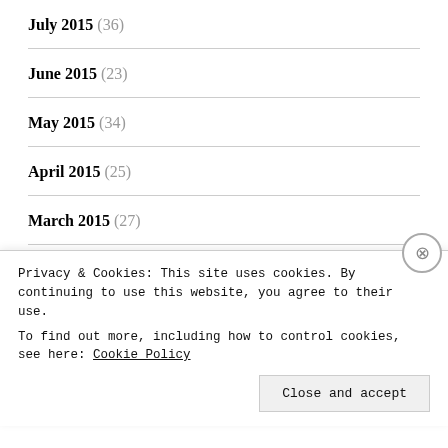July 2015 (36)
June 2015 (23)
May 2015 (34)
April 2015 (25)
March 2015 (27)
February 2015 (20)
January 2015 (48)
December 2014 (71)
Privacy & Cookies: This site uses cookies. By continuing to use this website, you agree to their use. To find out more, including how to control cookies, see here: Cookie Policy
Close and accept